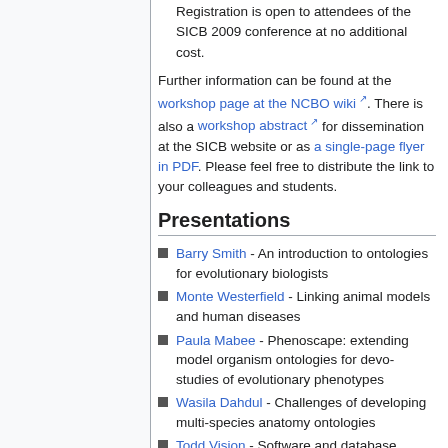Registration is open to attendees of the SICB 2009 conference at no additional cost.
Further information can be found at the workshop page at the NCBO wiki. There is also a workshop abstract for dissemination at the SICB website or as a single-page flyer in PDF. Please feel free to distribute the link to your colleagues and students.
Presentations
Barry Smith - An introduction to ontologies for evolutionary biologists
Monte Westerfield - Linking animal models and human diseases
Paula Mabee - Phenoscape: extending model organism ontologies for devo-studies of evolutionary phenotypes
Wasila Dahdul - Challenges of developing multi-species anatomy ontologies
Todd Vision - Software and database resources for curation and management of evolutionary phenotypes